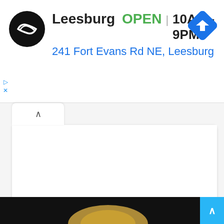[Figure (screenshot): Ad banner showing a store logo (black circle with double arrow icon), store name 'Leesburg', open status 'OPEN', hours '10AM–9PM', address '241 Fort Evans Rd NE, Leesburg', and a blue navigation/directions diamond icon on the right.]
Naomi Was Discovered In London At Age 15: Now The Model Is 52
Herbeauty
[Figure (photo): Dark photo showing a person with blonde hair against a black background, visible from approximately the shoulders up.]